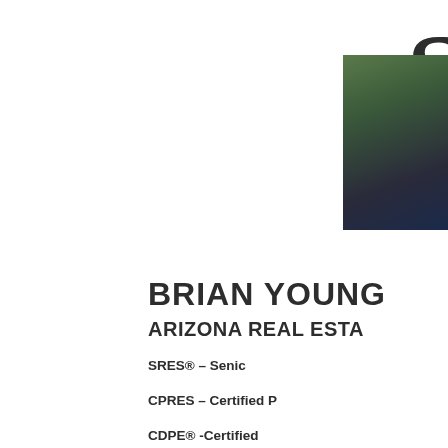S
[Figure (photo): Headshot photo of Brian Young, a man in a dark jacket against a green outdoor background]
BRIAN YOUNG
ARIZONA REAL ESTA
SRES® – Senic
CPRES – Certified P
CDPE® -Certified